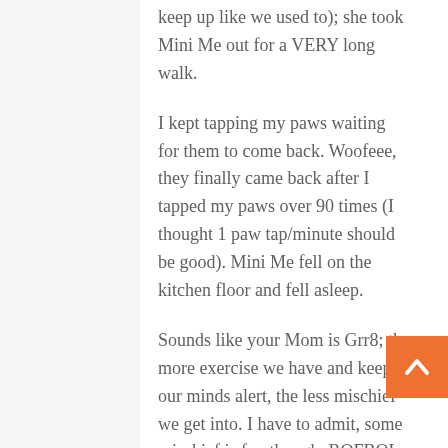keep up like we used to); she took Mini Me out for a VERY long walk.
I kept tapping my paws waiting for them to come back. Woofeee, they finally came back after I tapped my paws over 90 times (I thought 1 paw tap/minute should be good). Mini Me fell on the kitchen floor and fell asleep.
Sounds like your Mom is Grr8; the more exercise we have and keep our minds alert, the less mischief we get into. I have to admit, some mischief is fun though. ROFBOL
Mr MaGoo (Carla Mae and Mini